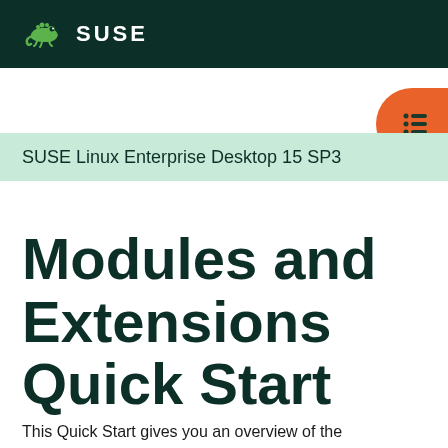SUSE
SUSE Linux Enterprise Desktop 15 SP3
Modules and Extensions Quick Start
This Quick Start gives you an overview of the